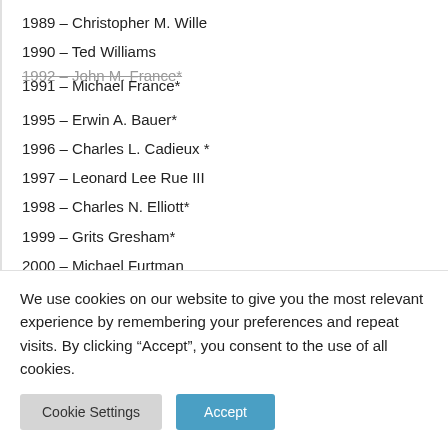1989 – Christopher M. Wille
1990 – Ted Williams
1992 – John M. France* / 1991 – Michael France* (overlapping)
1995 – Erwin A. Bauer*
1996 – Charles L. Cadieux *
1997 – Leonard Lee Rue III
1998 – Charles N. Elliott*
1999 – Grits Gresham*
2000 – Michael Furtman
2001 – Tony Dean*
2002 – Rich Patterson
We use cookies on our website to give you the most relevant experience by remembering your preferences and repeat visits. By clicking “Accept”, you consent to the use of all cookies.